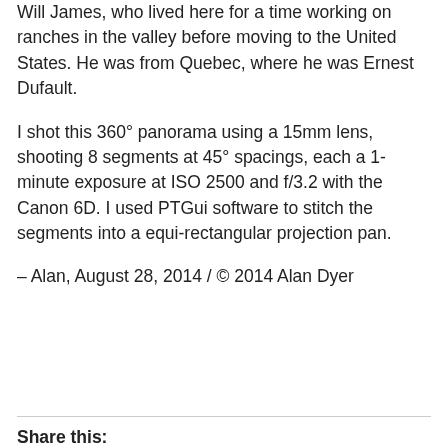Will James, who lived here for a time working on ranches in the valley before moving to the United States. He was from Quebec, where he was Ernest Dufault.
I shot this 360° panorama using a 15mm lens, shooting 8 segments at 45° spacings, each a 1-minute exposure at ISO 2500 and f/3.2 with the Canon 6D. I used PTGui software to stitch the segments into a equi-rectangular projection pan.
– Alan, August 28, 2014 / © 2014 Alan Dyer
Share this: